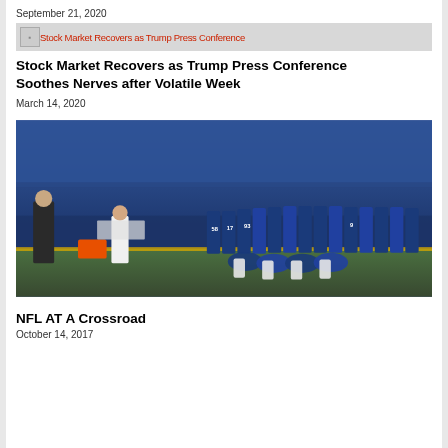September 21, 2020
[Figure (screenshot): Broken image with overlaid red text reading 'Stock Market Recovers as Trump Press Conference' on a grey background]
Stock Market Recovers as Trump Press Conference Soothes Nerves after Volatile Week
March 14, 2020
[Figure (photo): NFL players in blue Indianapolis Colts uniforms, some kneeling and some standing during the national anthem on the sideline, with crowd in background]
NFL AT A Crossroad
October 14, 2017